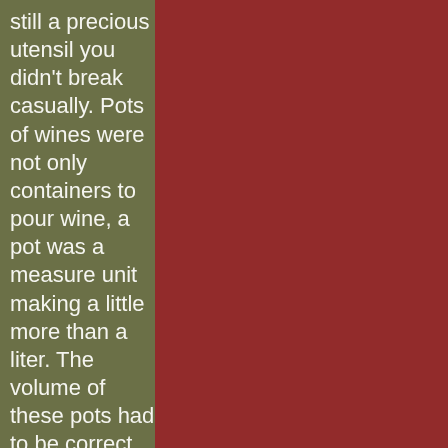still a precious utensil you didn't break casually. Pots of wines were not only containers to pour wine, a pot was a measure unit making a little more than a liter. The volume of these pots had to be correct because cheating on the volume was not a minor offense, it would have